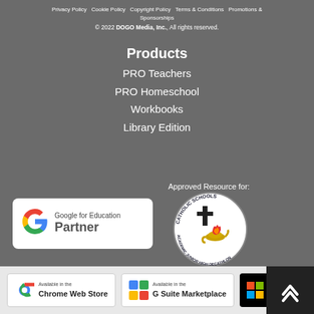Privacy Policy   Cookie Policy   Copyright Policy   Terms & Conditions   Promotions & Sponsorships
© 2022 DOGO Media, Inc., All rights reserved.
Products
PRO Teachers
PRO Homeschool
Workbooks
Library Edition
Approved Resource for:
[Figure (logo): Google for Education Partner badge — white rounded rectangle with Google G logo and text 'Google for Education Partner']
[Figure (logo): Catholic Schools Academic Junior High Decathlon seal — circular seal with cross and lamp]
[Figure (logo): Available in the Chrome Web Store badge]
[Figure (logo): Available in the G Suite Marketplace badge]
[Figure (logo): Get it from Microsoft badge]